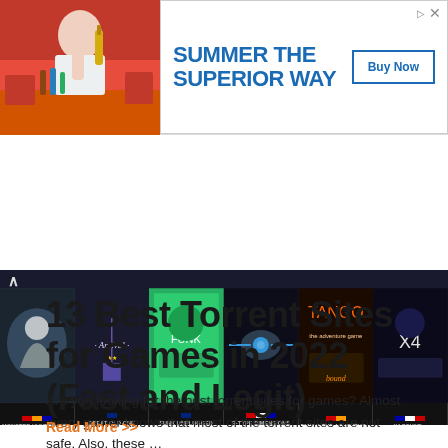[Figure (screenshot): Advertisement banner showing a photo of a person at a table with drinks on the left, and on the right a blue bold text saying 'SUMMER THE SUPERIOR WAY' with a 'Buy Now' button.]
[Figure (screenshot): Horizontal game image carousel showing thumbnails for Monster Hunter Wo..., Great Old One Arrival, Funk Unplugged Sou..., R-Type Dimensions Ex, Tango the Adventur..., X4 Found... with game flags and labels below each thumbnail.]
13 Best Torrent Sites for Games in 2022 (Fast and Legit)
Are you looking for the best torrent sites for games? Almost every gamer knows that most of the torrent sites are not safe. Also, these …
Read More >>